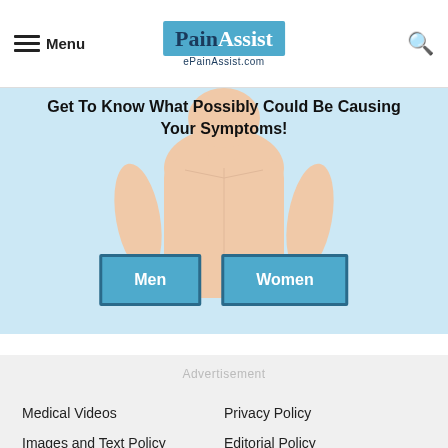Menu | PainAssist ePainAssist.com | Search
[Figure (illustration): Website banner showing a body illustration with text 'Get To Know What Possibly Could Be Causing Your Symptoms!' and two buttons labeled Men and Women, on a light blue background]
Advertisement
Advertisement
Medical Videos
Privacy Policy
Images and Text Policy
Editorial Policy